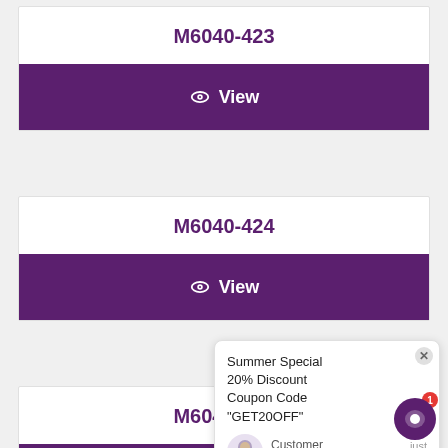M6040-423
View
M6040-424
View
M6040-426
View
[Figure (screenshot): Chat popup with Summer Special 20% Discount Coupon Code GET20OFF message, customer support agent avatar, and chat input area with thumbs up, attachment, and emoji icons. Red notification badge showing 1 on chat bubble button.]